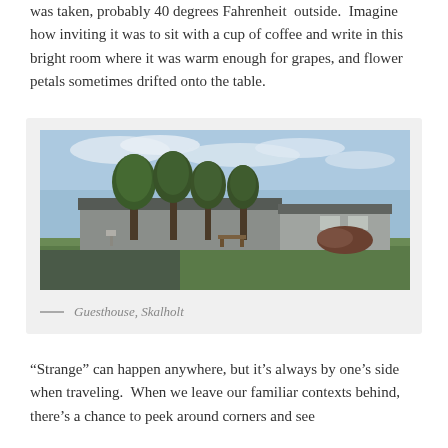was taken, probably 40 degrees Fahrenheit outside. Imagine how inviting it was to sit with a cup of coffee and write in this bright room where it was warm enough for grapes, and flower petals sometimes drifted onto the table.
[Figure (photo): Exterior photograph of the Guesthouse at Skalholt, showing low buildings with a dark roof surrounded by trees, under a partly cloudy sky with a green lawn in the foreground.]
— Guesthouse, Skalholt
“Strange” can happen anywhere, but it’s always by one’s side when traveling. When we leave our familiar contexts behind, there’s a chance to peek around corners and see